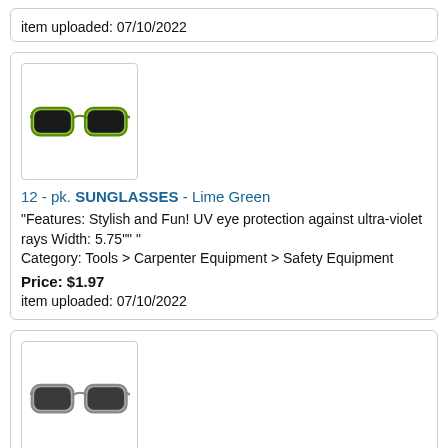item uploaded: 07/10/2022
[Figure (photo): Lime green sunglasses product image]
12 - pk. SUNGLASSES - Lime Green
"Features: Stylish and Fun! UV eye protection against ultra-violet rays Width: 5.75"" " Category: Tools > Carpenter Equipment > Safety Equipment
Price: $1.97
item uploaded: 07/10/2022
[Figure (photo): Silver sunglasses product image]
12 - pk. SUNGLASSES - Silver
"Features: Stylish and Fun! UV eye protection against